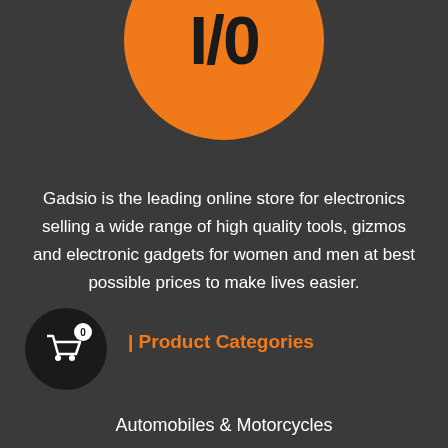[Figure (logo): Orange circle logo with bold text I/O]
Gadsio is the leading online store for electronics selling a wide range of high quality tools, gizmos and electronic gadgets for women and men at best possible prices to make lives easier.
[Figure (illustration): Black circle with shopping cart icon and badge showing 0]
| Product Categories
Automobiles & Motorcycles